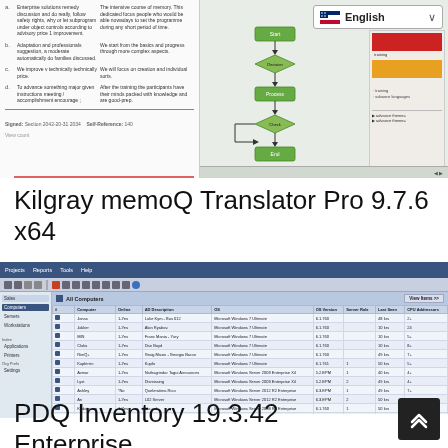[Figure (screenshot): Screenshot of Kilgray memoQ Translator Pro application showing a training document with numbered sections, text columns, and a flowchart diagram. A language selector showing 'English' is visible in the top right.]
Kilgray memoQ Translator Pro 9.7.6 x64
[Figure (screenshot): Screenshot of PDQ Inventory 19.3.42 Enterprise application showing a computer inventory list with columns for Computer, Online, AD Description, OS, OS Version, Server Role, Last Seen, and CPU information. Multiple computers are listed with Windows operating systems.]
PDQ Inventory 19.3.42 Enterprise